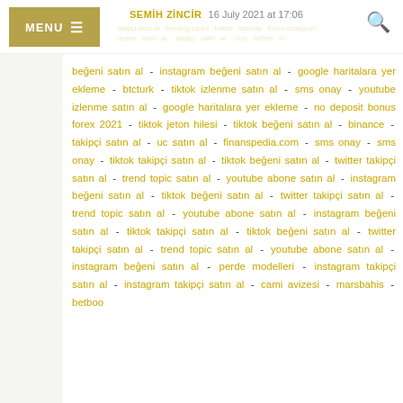SEMIH ZİNCİR 16 July 2021 at 17:06 | MENU
beğeni satın al - instagram beğeni satın al - google haritalara yer ekleme - btcturk - tiktok izlenme satın al - sms onay - youtube izlenme satın al - google haritalara yer ekleme - no deposit bonus forex 2021 - tiktok jeton hilesi - tiktok beğeni satın al - binance - takipçi satın al - uc satın al - finanspedia.com - sms onay - sms onay - tiktok takipçi satın al - tiktok beğeni satın al - twitter takipçi satın al - trend topic satın al - youtube abone satın al - instagram beğeni satın al - tiktok beğeni satın al - twitter takipçi satın al - trend topic satın al - youtube abone satın al - instagram beğeni satın al - tiktok takipçi satın al - tiktok beğeni satın al - twitter takipçi satın al - trend topic satın al - youtube abone satın al - instagram beğeni satın al - perde modelleri - instagram takipçi satın al - instagram takipçi satın al - cami avizesi - marsbahis - betboo